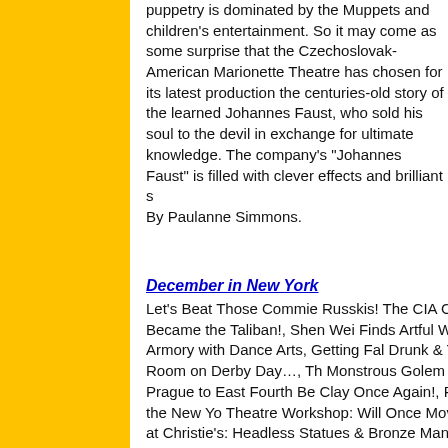puppetry is dominated by the Muppets and children's entertainment. So it may come as some surprise that the Czechoslovak-American Marionette Theatre has chosen for its latest production the centuries-old story of the learned Johannes Faust, who sold his soul to the devil in exchange for ultimate knowledge. The company's "Johannes Faust" is filled with clever effects and brilliant s By Paulanne Simmons.
[Figure (photo): A photo of a performer (Horejs) peeking through the stage floor in Johannes Faust production]
JOHANNES DOKCHTOR F Horejs pokes through the stage's floor in "Johannes Faust."
December in New York
Let's Beat Those Commie Russkis! The CIA Covertly What Became the Taliban!, Shen Wei Finds Artful Wa the Park Avenue Armory with Dance Arts, Getting Fal Drunk & Trashing a Motel Room on Derby Day…, Th Monstrous Golem Comes from Prague to East Fourth Be Clay Once Again!, Rent Began Life at the New Yo Theatre Workshop: Will Once Move to Broadway?, A at Christie's: Headless Statues & Bronze Man Withou To Stand on!, James DePriest at Carnegie Hall: Siwo Juilliard Orchestra Violin Soloist!, Stick Fly at the Cor